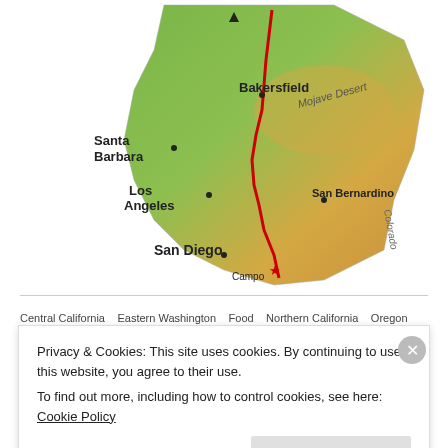[Figure (map): Map of Southern California showing the Pacific Crest Trail route marked in red, from Campo (marked with a red star) northward through San Bernardino, Mojave Desert, Los Angeles, Santa Barbara area, and Bakersfield. Cities labeled include San Diego, Los Angeles, Santa Barbara, Bakersfield, San Bernardino. Geographic features include Mojave Desert and Colorado River label.]
Central California  Eastern Washington  Food  Northern California  Oregon
PCT
Privacy & Cookies: This site uses cookies. By continuing to use this website, you agree to their use.
To find out more, including how to control cookies, see here: Cookie Policy
Close and accept